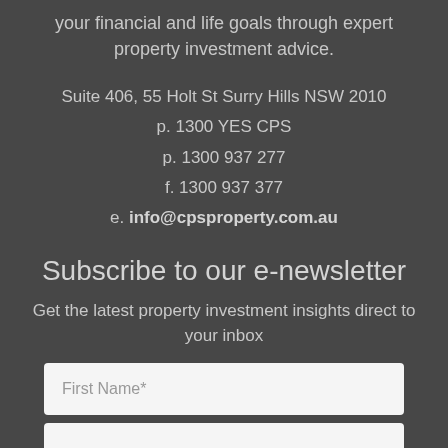your financial and life goals through expert property investment advice.
Suite 406, 55 Holt St Surry Hills NSW 2010
p. 1300 YES CPS
p. 1300 937 277
f. 1300 937 377
e. info@cpsproperty.com.au
Subscribe to our e-newsletter
Get the latest property investment insights direct to your inbox
First Name*